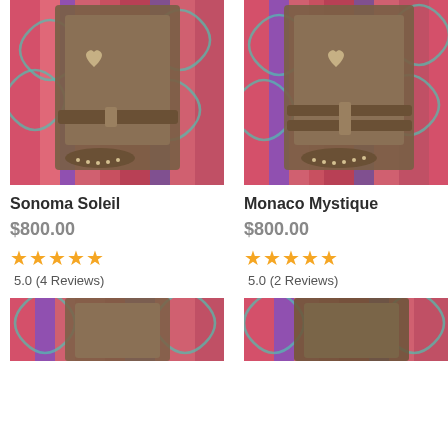[Figure (photo): Brown suede cowboy boots with studded toe and buckle strap, displayed against colorful striped and metallic scrollwork background — Sonoma Soleil]
Sonoma Soleil
$800.00
5.0 (4 Reviews)
[Figure (photo): Brown suede cowboy boots with studded toe and double buckle strap, displayed against colorful striped and metallic scrollwork background — Monaco Mystique]
Monaco Mystique
$800.00
5.0 (2 Reviews)
[Figure (photo): Partial view of brown suede cowboy boots against colorful striped and metallic scrollwork background — bottom of page]
[Figure (photo): Partial view of brown suede cowboy boots against colorful striped and metallic scrollwork background — bottom of page right]